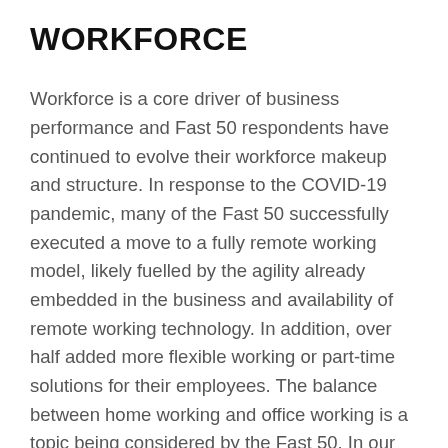WORKFORCE
Workforce is a core driver of business performance and Fast 50 respondents have continued to evolve their workforce makeup and structure. In response to the COVID-19 pandemic, many of the Fast 50 successfully executed a move to a fully remote working model, likely fuelled by the agility already embedded in the business and availability of remote working technology. In addition, over half added more flexible working or part-time solutions for their employees. The balance between home working and office working is a topic being considered by the Fast 50. In our discussion with CEOs, the